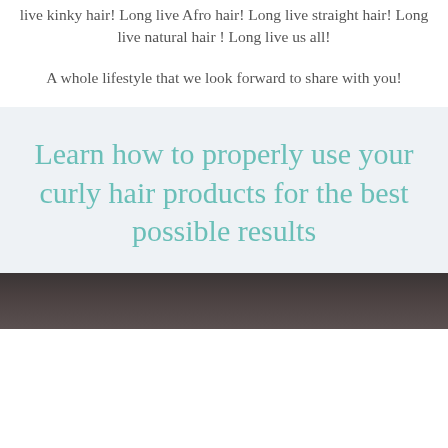live kinky hair! Long live Afro hair! Long live straight hair! Long live natural hair ! Long live us all!
A whole lifestyle that we look forward to share with you!
Learn how to properly use your curly hair products for the best possible results
[Figure (photo): Bottom strip of a photo showing a person with curly hair]